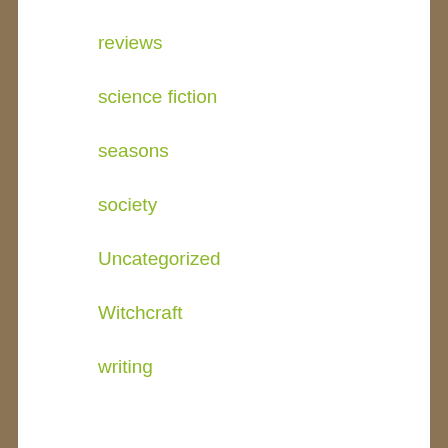reviews
science fiction
seasons
society
Uncategorized
Witchcraft
writing
The Archive
July 2022 (1)
June 2022 (2)